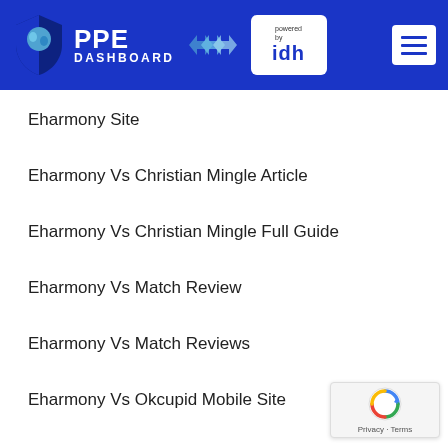PPE DASHBOARD powered by idh
Eharmony Site
Eharmony Vs Christian Mingle Article
Eharmony Vs Christian Mingle Full Guide
Eharmony Vs Match Review
Eharmony Vs Match Reviews
Eharmony Vs Okcupid Mobile Site
Eharmony Who Is Kendall Jenner Dating
Eharmony-Inceleme Visitors
El Paso+TX+Texas Hookup Sites